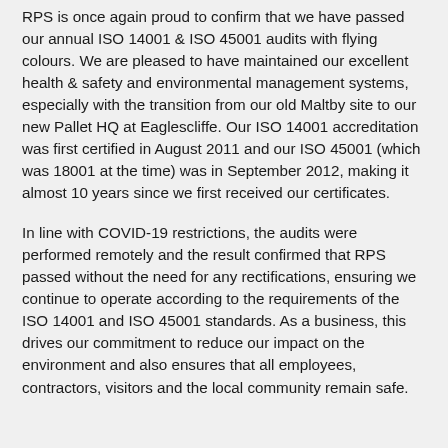RPS is once again proud to confirm that we have passed our annual ISO 14001 & ISO 45001 audits with flying colours. We are pleased to have maintained our excellent health & safety and environmental management systems, especially with the transition from our old Maltby site to our new Pallet HQ at Eaglescliffe. Our ISO 14001 accreditation was first certified in August 2011 and our ISO 45001 (which was 18001 at the time) was in September 2012, making it almost 10 years since we first received our certificates.
In line with COVID-19 restrictions, the audits were performed remotely and the result confirmed that RPS passed without the need for any rectifications, ensuring we continue to operate according to the requirements of the ISO 14001 and ISO 45001 standards. As a business, this drives our commitment to reduce our impact on the environment and also ensures that all employees, contractors, visitors and the local community remain safe.